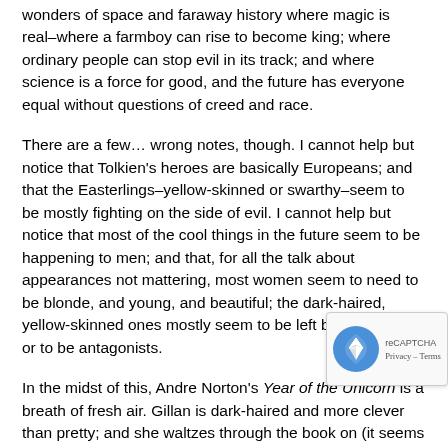wonders of space and faraway history where magic is real–where a farmboy can rise to become king; where ordinary people can stop evil in its track; and where science is a force for good, and the future has everyone equal without questions of creed and race.
There are a few… wrong notes, though. I cannot help but notice that Tolkien's heroes are basically Europeans; and that the Easterlings–yellow-skinned or swarthy–seem to be mostly fighting on the side of evil. I cannot help but notice that most of the cool things in the future seem to be happening to men; and that, for all the talk about appearances not mattering, most women seem to need to be blonde, and young, and beautiful; the dark-haired, yellow-skinned ones mostly seem to be left by the wayside or to be antagonists.
In the midst of this, Andre Norton's Year of the Unicorn is a breath of fresh air. Gillan is dark-haired and more clever than pretty; and she waltzes through the book on (it seems to) nothing more than sheer strength of will, and a stubborn refusal